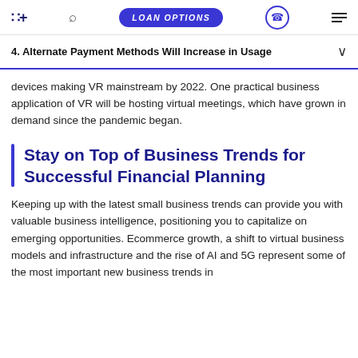LOAN OPTIONS
4. Alternate Payment Methods Will Increase in Usage
devices making VR mainstream by 2022. One practical business application of VR will be hosting virtual meetings, which have grown in demand since the pandemic began.
Stay on Top of Business Trends for Successful Financial Planning
Keeping up with the latest small business trends can provide you with valuable business intelligence, positioning you to capitalize on emerging opportunities. Ecommerce growth, a shift to virtual business models and infrastructure and the rise of AI and 5G represent some of the most important new business trends in